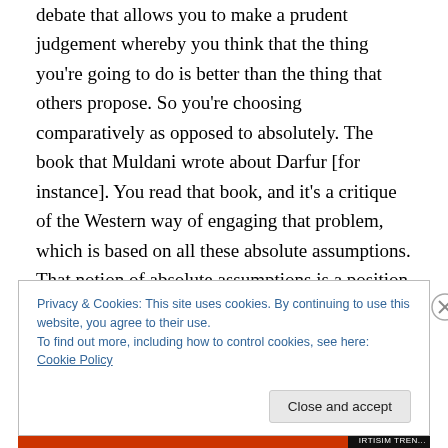debate that allows you to make a prudent judgement whereby you think that the thing you're going to do is better than the thing that others propose. So you're choosing comparatively as opposed to absolutely. The book that Muldani wrote about Darfur [for instance]. You read that book, and it's a critique of the Western way of engaging that problem, which is based on all these absolute assumptions. That notion of absolute assumptions is a position about knowledge: that you can start from these absolute places. He's arguing that, to really figure out this problem, you really have to do the
Privacy & Cookies: This site uses cookies. By continuing to use this website, you agree to their use.
To find out more, including how to control cookies, see here: Cookie Policy